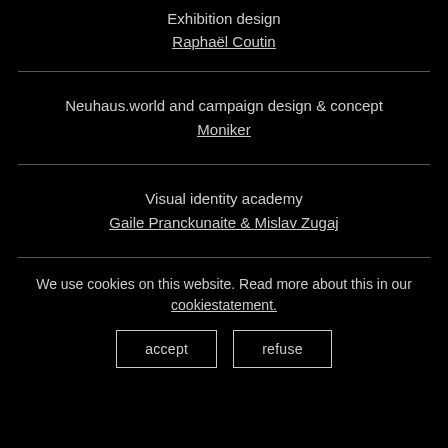Exhibition design
Raphaël Coutin
Neuhaus.world and campaign design & concept
Moniker
Visual identity academy
Gaile Pranckunaite & Mislav Zugaj
We use cookies on this website. Read more about this in our cookiestatement.